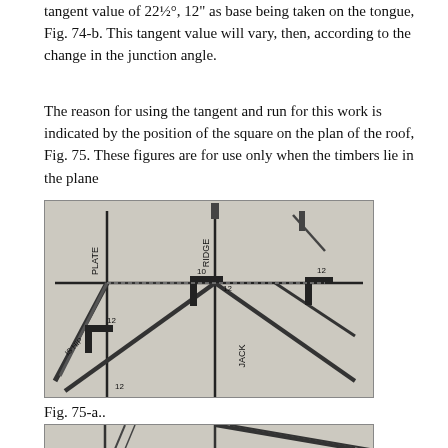tangent value of 22½°, 12" as base being taken on the tongue, Fig. 74-b. This tangent value will vary, then, according to the change in the junction angle.
The reason for using the tangent and run for this work is indicated by the position of the square on the plan of the roof, Fig. 75. These figures are for use only when the timbers lie in the plane
[Figure (engineering-diagram): Fig. 75-a: Plan view of roof framing showing carpenter's square positioned on rafters with labels PLATE, RIDGE, JACK, and numerical measurements 10, 12 marked on the square blades. Diagonal hip rafter lines and jack rafter shown in plan view.]
Fig. 75-a..
[Figure (engineering-diagram): Fig. 75-b (partial): Another plan view diagram of roof framing, partially visible at bottom of page.]